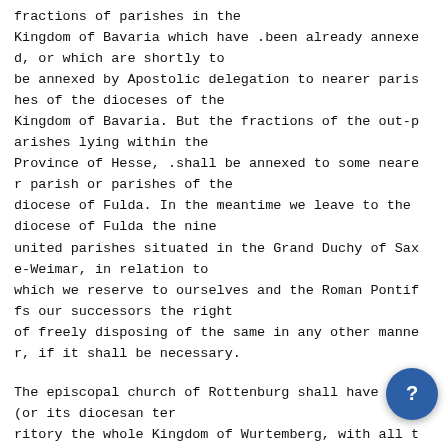fractions of parishes in the Kingdom of Bavaria which have .been already annexed, or which are shortly to be annexed by Apostolic delegation to nearer parishes of the dioceses of the Kingdom of Bavaria. But the fractions of the out-parishes lying within the Province of Hesse, .shall be annexed to some nearer parish or parishes of the diocese of Fulda. In the meantime we leave to the diocese of Fulda the nine united parishes situated in the Grand Duchy of Saxe-Weimar, in relation to which we reserve to ourselves and the Roman Pontiffs our successors the right of freely disposing of the same in any other manner, if it shall be necessary.
The episcopal church of Rottenburg shall have have (or its diocesan territory the whole Kingdom of Wurtemberg, with all the parishes which in the year 1816 were separated from the divisions of sburg, Spires, Worms, and Wurtsburg ; together with the parishes formerly b